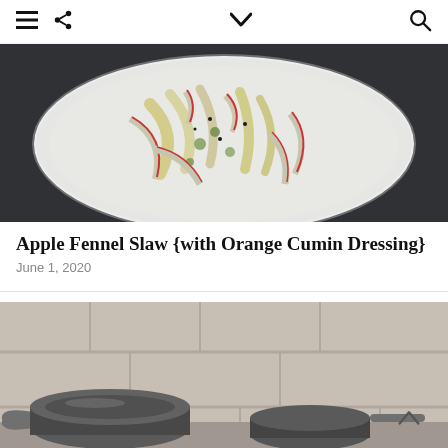Navigation bar with menu, share, dropdown, and search icons
[Figure (photo): Overhead view of a white bowl containing apple fennel slaw with thinly sliced apples and fennel on a dark slate background]
Apple Fennel Slaw {with Orange Cumin Dressing}
June 1, 2020
[Figure (photo): Close-up photo of kitchen cookware including pots on a counter with beige tile backsplash]